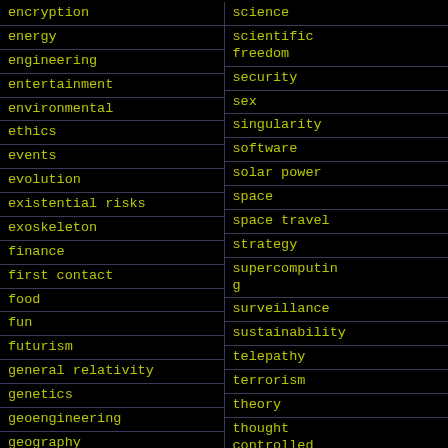encryption
energy
engineering
entertainment
environmental
ethics
events
evolution
existential risks
exoskeleton
finance
first contact
food
fun
futurism
general relativity
genetics
geoengineering
geography
science
scientific freedom
security
sex
singularity
software
solar power
space
space travel
strategy
supercomputing
surveillance
sustainability
telepathy
terrorism
theory
thought controlled